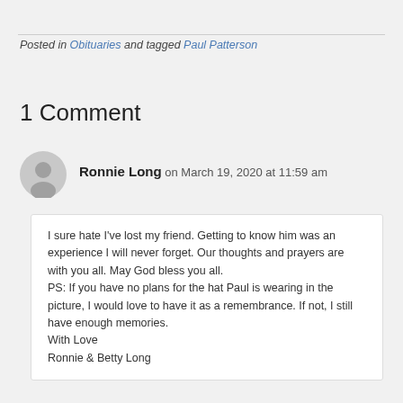Posted in Obituaries and tagged Paul Patterson
1 Comment
Ronnie Long on March 19, 2020 at 11:59 am
I sure hate I've lost my friend. Getting to know him was an experience I will never forget. Our thoughts and prayers are with you all. May God bless you all.
PS: If you have no plans for the hat Paul is wearing in the picture, I would love to have it as a remembrance. If not, I still have enough memories.
With Love
Ronnie & Betty Long